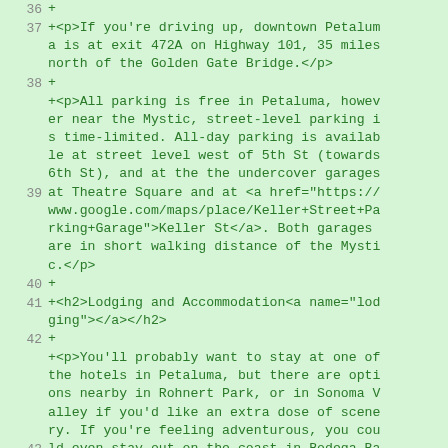36 +
37 +<p>If you're driving up, downtown Petaluma is at exit 472A on Highway 101, 35 miles north of the Golden Gate Bridge.</p>
38 +
+<p>All parking is free in Petaluma, however near the Mystic, street-level parking is time-limited. All-day parking is available at street level west of 5th St (towards 6th St), and at the the undercover garages
39 at Theatre Square and at <a href="https://www.google.com/maps/place/Keller+Street+Parking+Garage">Keller St</a>. Both garages are in short walking distance of the Mystic.</p>
40 +
41 +<h2>Lodging and Accommodation<a name="lodging"></a></h2>
42 +
+<p>You'll probably want to stay at one of the hotels in Petaluma, but there are options nearby in Rohnert Park, or in Sonoma Valley if you'd like an extra dose of scenery. If you're feeling adventurous, you cou
43 ld even stay out on the coast in Bodega Bay or up in Santa Rosa. But staying in Petaluma near the venue means you'll have a ve